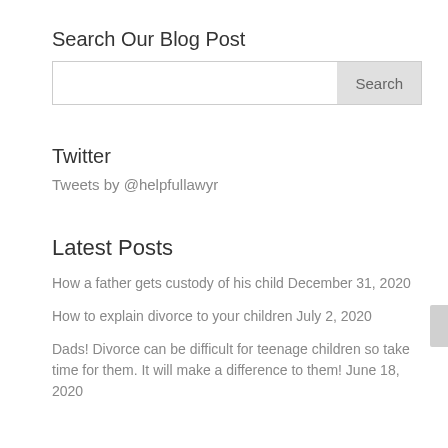Search Our Blog Post
Search
Twitter
Tweets by @helpfullawyr
Latest Posts
How a father gets custody of his child December 31, 2020
How to explain divorce to your children July 2, 2020
Dads! Divorce can be difficult for teenage children so take time for them. It will make a difference to them! June 18, 2020